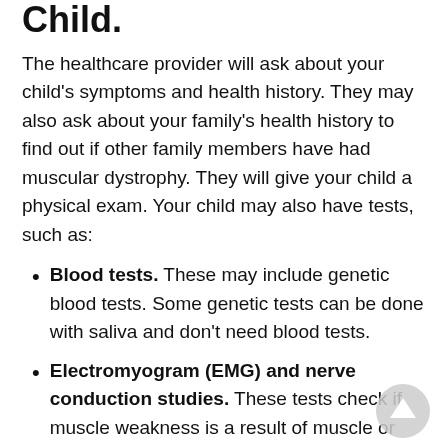Child.
The healthcare provider will ask about your child's symptoms and health history. They may also ask about your family's health history to find out if other family members have had muscular dystrophy. They will give your child a physical exam. Your child may also have tests, such as:
Blood tests. These may include genetic blood tests. Some genetic tests can be done with saliva and don't need blood tests.
Electromyogram (EMG) and nerve conduction studies. These tests check if muscle weakness is a result of muscle or nerve damage.
Muscle biopsy. A small sample of muscle tissue is taken and looked at under a microscope.
Electrocardiogram (ECG). This is a test that